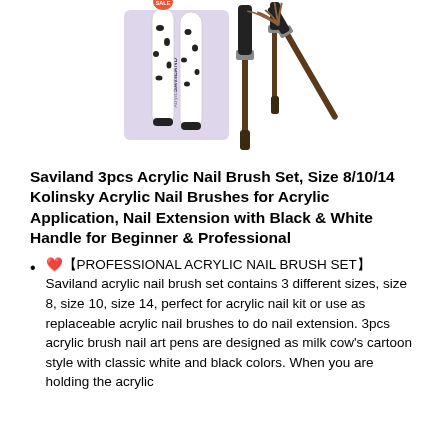[Figure (photo): Product photo of Saviland 3pcs acrylic nail brush set showing three white milk-cow patterned nail art pens in a box and two acrylic nail brushes with brown bristles]
Saviland 3pcs Acrylic Nail Brush Set, Size 8/10/14 Kolinsky Acrylic Nail Brushes for Acrylic Application, Nail Extension with Black & White Handle for Beginner & Professional
❤【PROFESSIONAL ACRYLIC NAIL BRUSH SET】 Saviland acrylic nail brush set contains 3 different sizes, size 8, size 10, size 14, perfect for acrylic nail kit or use as replaceable acrylic nail brushes to do nail extension. 3pcs acrylic brush nail art pens are designed as milk cow's cartoon style with classic white and black colors. When you are holding the acrylic